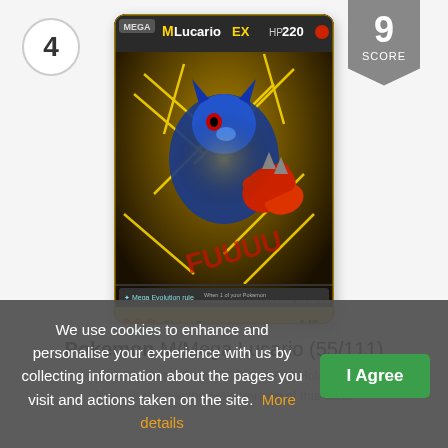4
9 SCORE
[Figure (photo): Pokemon trading card: M/Mega Lucario EX (55/111), HP 220. Shows Mega Lucario in action with yellow lightning effects, Rising Fist attack for 140 damage. Discard an Energy attached to your opponent's Active Pokemon.]
Pokemon M/Mega Lucario (55/111)
Pokemon Card XY Rising Fist Holo
We use cookies to enhance and personalise your experience with us by collecting information about the pages you visit and actions taken on the site.  More details
I Agree
You will receive the Holo version of this card.